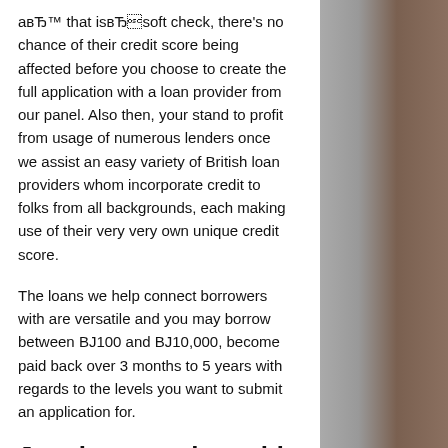aвЂ™ that isвЂsoft check, there's no chance of their credit score being affected before you choose to create the full application with a loan provider from our panel. Also then, your stand to profit from usage of numerous lenders once we assist an easy variety of British loan providers whom incorporate credit to folks from all backgrounds, each making use of their very very own unique credit score.
The loans we help connect borrowers with are versatile and you may borrow between BJ100 and BJ10,000, become paid back over 3 months to 5 years with regards to the levels you want to submit an application for.
Just how much could I borrow?
Our very carefully selected panel of direct loan